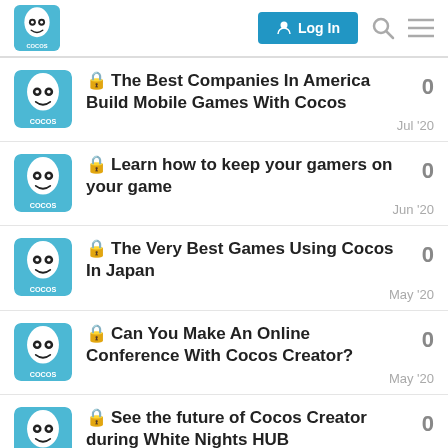Cocos forum header with Log In button
🔒 The Best Companies In America Build Mobile Games With Cocos — 0 replies — Jul '20
🔒 Learn how to keep your gamers on your game — 0 replies — Jun '20
🔒 The Very Best Games Using Cocos In Japan — 0 replies — May '20
🔒 Can You Make An Online Conference With Cocos Creator? — 0 replies — May '20
🔒 See the future of Cocos Creator during White Nights HUB — 0 replies